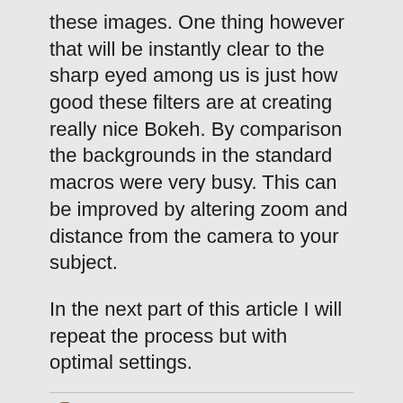these images. One thing however that will be instantly clear to the sharp eyed among us is just how good these filters are at creating really nice Bokeh. By comparison the backgrounds in the standard macros were very busy. This can be improved by altering zoom and distance from the camera to your subject.
In the next part of this article I will repeat the process but with optimal settings.
R.W. MCKENZIE
27/07/2012
SHARE THIS:
TWITTER  PRINT  FACEBOOK  PINTEREST  TUMBLR
LIKE THIS: